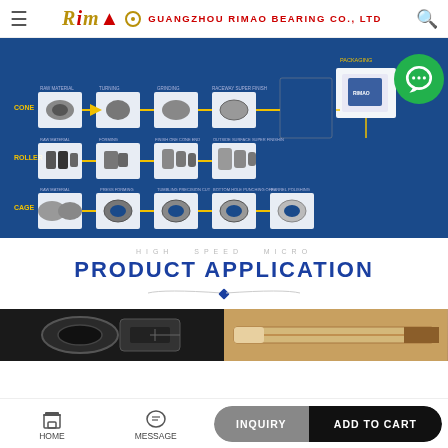Guangzhou Rimao Bearing Co., Ltd
[Figure (schematic): Manufacturing process flow diagram for tapered roller bearing components (Cone, Roller, Cage) showing raw materials through turning, grinding, surface finish, and packaging steps on blue background, with a green customer support chat bubble overlay.]
HIGH SPEED MICRO
PRODUCT APPLICATION
[Figure (photo): Product application images strip showing two partial photos: left side shows dark metallic automotive/industrial application, right side shows a tobacco/cigarette-related application in brown tones.]
HOME   MESSAGE   INQUIRY   ADD TO CART